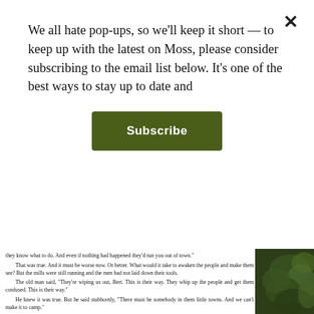We all hate pop-ups, so we'll keep it short — to keep up with the latest on Moss, please consider subscribing to the email list below. It's one of the best ways to stay up to date and
Subscribe
they know what to do. And even if nothing had happened they'd run you out of town."
	That was true. And it must be worse now. Or better. What would it take to awaken the people and make them see? But the mills were still running and the men had not laid down their tools.
	The old man said, "They're wiping us out, Bert. This is their way. They whip up the people and get them confused. This is their way."
	He knew it was true. But he said stubbornly, "There must be somebody in them little towns. And we can't make it to camp."
	"How can you find them?"
	"I'll find somebody. Somebody will be friendly."
	The old man said, "The people don't know, Bert. How can they know? Who will tell them? They're slow, slow, and there's a lot of cattle there. They'll kill you. They won't ask who you are. They won't give you a chance to get away."
	"You want to starve? You want to wait here and starve?"
	The old man's face twisted; the strength seemed to go out of him again. After a long time he said slowly, "They turn on the screws and sooner or later somebody is bound to shoot back. Maybe in Centralia or Everett or Butte—it don't make any difference because it gives them their excuse and they turn the